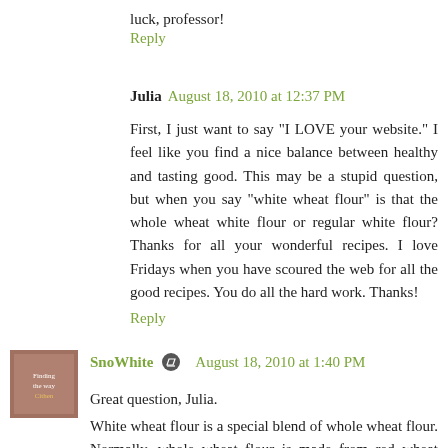luck, professor!
Reply
Julia  August 18, 2010 at 12:37 PM
First, I just want to say "I LOVE your website." I feel like you find a nice balance between healthy and tasting good. This may be a stupid question, but when you say "white wheat flour" is that the whole wheat white flour or regular white flour? Thanks for all your wonderful recipes. I love Fridays when you have scoured the web for all the good recipes. You do all the hard work. Thanks!
Reply
SnoWhite  August 18, 2010 at 1:40 PM
Great question, Julia.
White wheat flour is a special blend of whole wheat flour. Normally, whole wheat flour is made from red wheat berries, making whole wheat flour that darker "wheat" color...